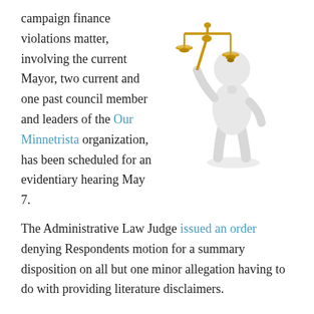campaign finance violations matter, involving the current Mayor, two current and one past council member and leaders of the Our Minnetrista organization, has been scheduled for an evidentiary hearing May 7.
[Figure (illustration): White 3D figurine holding a golden balance scale of justice]
The Administrative Law Judge issued an order denying Respondents motion for a summary disposition on all but one minor allegation having to do with providing literature disclaimers.
The complaint, filed with the MN Office of Administrative Hearings, deals with allegations of campaign finance violations against the Respondents.